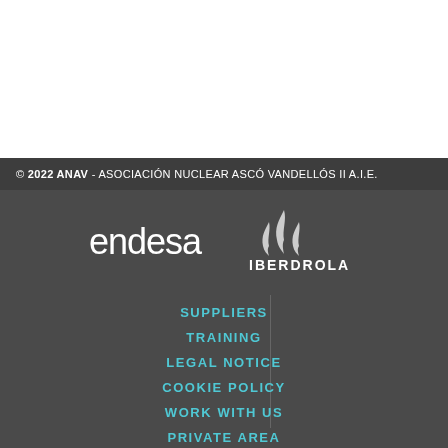© 2022 ANAV - ASOCIACIÓN NUCLEAR ASCÓ VANDELLÓS II A.I.E.
[Figure (logo): Endesa logo in white text on dark background]
[Figure (logo): Iberdrola logo with flame icons and IBERDROLA text in white]
SUPPLIERS
TRAINING
LEGAL NOTICE
COOKIE POLICY
WORK WITH US
PRIVATE AREA
BACK TO TOP